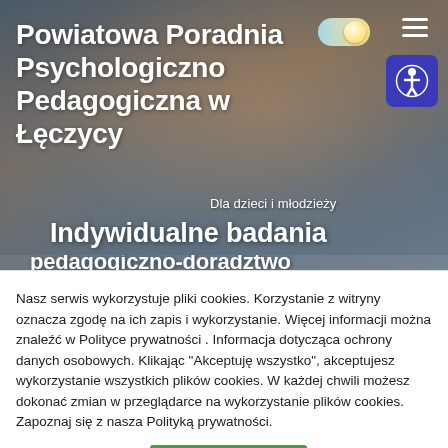[Figure (screenshot): Website hero banner of Powiatowa Poradnia Psychologiczno Pedagogiczna w Łęczycy with a background photo of a person skateboarding, toggle switch, hamburger menu, and accessibility button. Text overlays include site title and partial banner text 'Indywidualne badania'.]
Nasz serwis wykorzystuje pliki cookies. Korzystanie z witryny oznacza zgodę na ich zapis i wykorzystanie. Więcej informacji można znaleźć w Polityce prywatności . Informacja dotycząca ochrony danych osobowych. Klikając "Akceptuję wszystko", akceptujesz wykorzystanie wszystkich plików cookies. W każdej chwili możesz dokonać zmian w przeglądarce na wykorzystanie plików cookies. Zapoznaj się z nasza Polityką prywatności.
Polityka prywatności
Akceptuję wszystko